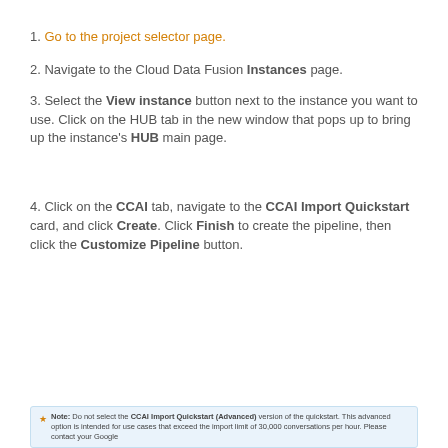1. Go to the project selector page.
2. Navigate to the Cloud Data Fusion Instances page.
3. Select the View instance button next to the instance you want to use. Click on the HUB tab in the new window that pops up to bring up the instance's HUB main page.
4. Click on the CCAI tab, navigate to the CCAI Import Quickstart card, and click Create. Click Finish to create the pipeline, then click the Customize Pipeline button.
Note: Do not select the CCAI Import Quickstart (Advanced) version of the quickstart. This advanced option is intended for use cases that exceed the import limit of 30,000 conversations per hour. Please contact your Google...